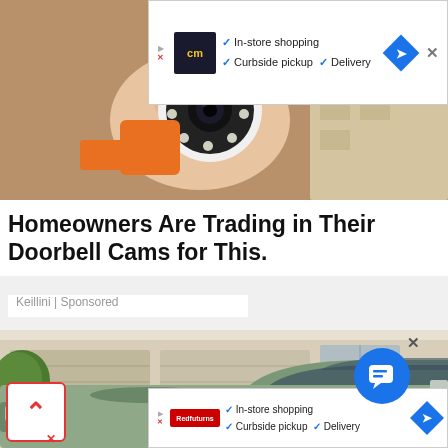[Figure (screenshot): Top advertisement banner: CM logo (yellow letters on dark background), checkmarks for In-store shopping, Curbside pickup, Delivery, blue diamond navigation icon, X close button]
[Figure (photo): Hand holding a small round security camera with LED ring lights, white body, on a workbench with orange tool and boxes in background]
Homeowners Are Trading in Their Doorbell Cams for This.
Keillini | Sponsored
[Figure (photo): Green/sage colored pickup truck parked in front of a building with garage doors and a potted topiary tree]
[Figure (screenshot): Bottom advertisement banner: red logo, checkmarks for In-store shopping, Curbside pickup, Delivery, blue diamond navigation icon]
[Figure (screenshot): Scroll-up button (red bordered box with up arrow) bottom left, Amazon chat bubble (blue circle) bottom right, X close button]